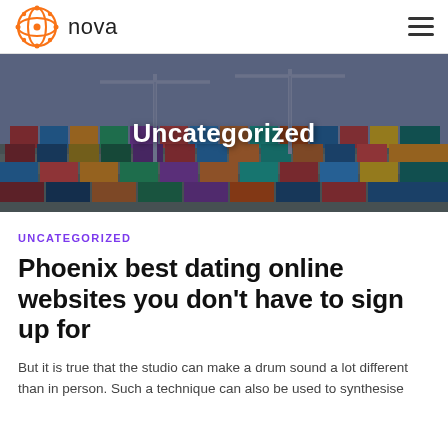nova
[Figure (photo): Aerial view of a shipping container port with colorful stacked containers and cranes]
Uncategorized
UNCATEGORIZED
Phoenix best dating online websites you don't have to sign up for
But it is true that the studio can make a drum sound a lot different than in person. Such a technique can also be used to synthesise